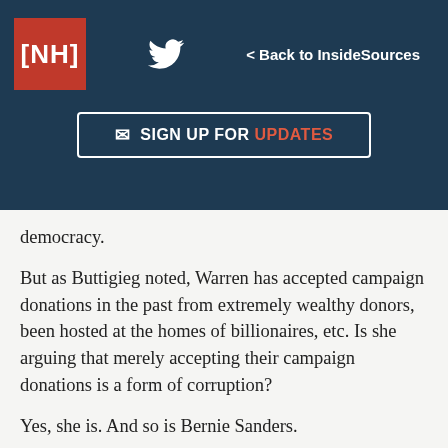[NH] | Twitter | < Back to InsideSources | SIGN UP FOR UPDATES
democracy.
But as Buttigieg noted, Warren has accepted campaign donations in the past from extremely wealthy donors, been hosted at the homes of billionaires, etc. Is she arguing that merely accepting their campaign donations is a form of corruption?
Yes, she is. And so is Bernie Sanders.
“We are becoming an oligarchy,” Sanders said. “Where a handful of billionaires spend hundreds of millions of dollars buying elections and politicians. The issue isn’t old or young, male or female. It’s the working people of this country